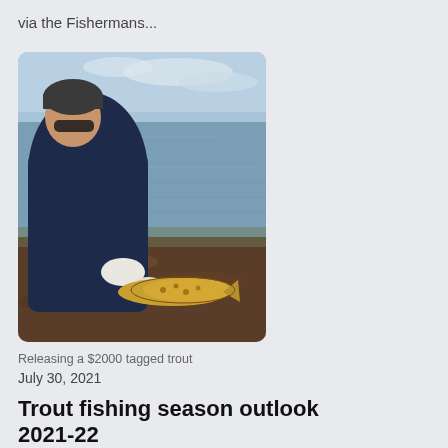via the Fishermans...
[Figure (photo): Person in dark winter clothes, beanie hat and sunglasses, bending down at the edge of a lake or sea, holding a brown trout fish near the water surface, about to release it. Overcast sky and water in the background.]
Releasing a $2000 tagged trout
July 30, 2021
Trout fishing season outlook 2021-22